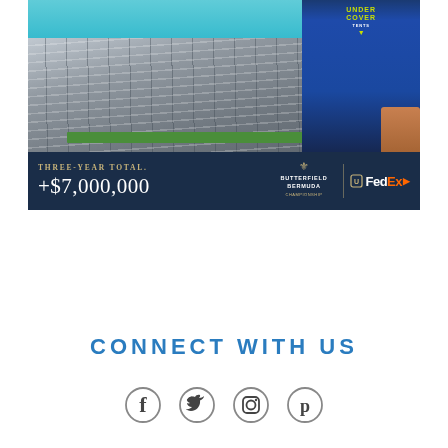[Figure (photo): Outdoor event setup with bleacher/tent structures near turquoise ocean water in Bermuda. A man in a blue tank top shirt with 'UNDER COVER TENTS' text stands on the right. A dark blue banner at the bottom shows 'THREE-YEAR TOTAL +$7,000,000' along with the Butterfield Bermuda Championship and FedEx logos.]
CONNECT WITH US
[Figure (other): Social media icons row: Facebook, Twitter, Instagram, Pinterest]